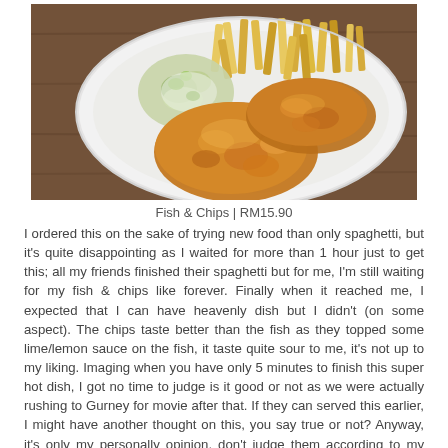[Figure (photo): A white plate with fish and chips — two pieces of golden battered fried fish, french fries/chips, and a coleslaw/cucumber salad side, photographed from above on a wooden table.]
Fish & Chips | RM15.90
I ordered this on the sake of trying new food than only spaghetti, but it's quite disappointing as I waited for more than 1 hour just to get this; all my friends finished their spaghetti but for me, I'm still waiting for my fish & chips like forever. Finally when it reached me, I expected that I can have heavenly dish but I didn't (on some aspect). The chips taste better than the fish as they topped some lime/lemon sauce on the fish, it taste quite sour to me, it's not up to my liking. Imaging when you have only 5 minutes to finish this super hot dish, I got no time to judge is it good or not as we were actually rushing to Gurney for movie after that. If they can served this earlier, I might have another thought on this, you say true or not? Anyway, it's only my personally opinion, don't judge them according to my words, as